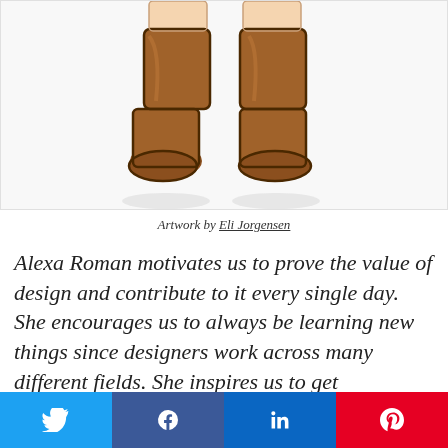[Figure (illustration): Illustration of legs wearing brown knee-high boots, lower portion of a character visible against white background]
Artwork by Eli Jorgensen
Alexa Roman motivates us to prove the value of design and contribute to it every single day. She encourages us to always be learning new things since designers work across many different fields. She inspires us to get
[Figure (infographic): Social sharing bar with four buttons: Twitter (blue bird icon), Facebook (blue f icon), LinkedIn (blue in icon), Pinterest (red P icon)]